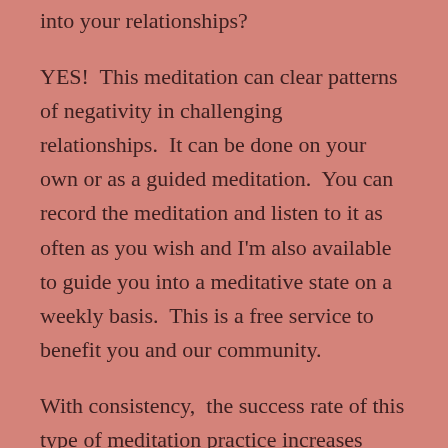into your relationships?
YES!  This meditation can clear patterns of negativity in challenging relationships.  It can be done on your own or as a guided meditation.  You can record the meditation and listen to it as often as you wish and I'm also available to guide you into a meditative state on a weekly basis.  This is a free service to benefit you and our community.
With consistency,  the success rate of this type of meditation practice increases greatly. Since we all benefit from positive reinforcement, accountability, and support , I am offering a  free weekly meditation conference call.  Would you like to receive a live guided meditation to help you move forward in your